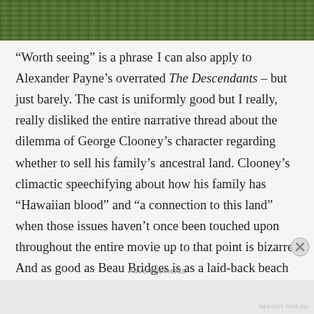[Figure (photo): Green foliage or grass, a horizontal photo strip at the top of the page]
“Worth seeing” is a phrase I can also apply to Alexander Payne’s overrated The Descendants – but just barely. The cast is uniformly good but I really, really disliked the entire narrative thread about the dilemma of George Clooney’s character regarding whether to sell his family’s ancestral land. Clooney’s climactic speechifying about how his family has “Hawaiian blood” and “a connection to this land” when those issues haven’t once been touched upon throughout the entire movie up to that point is bizarre. And as good as Beau Bridges is as a laid-back beach bum in his first scene at a bar. the moment at the end where he’s
Advertisements